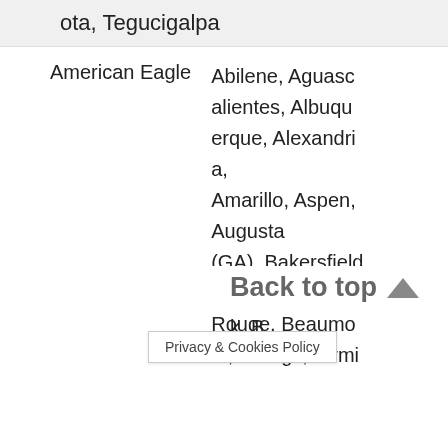ota, Tegucigalpa
| Airline | Cities |
| --- | --- |
| American Eagle | Abilene, Aguascalientes, Albuquerque, Alexandria, Amarillo, Aspen, Augusta (GA), Bakersfield, Baton Rouge, Beaumont, Billings, Birmi... |
Back to top
Privacy & Cookies Policy